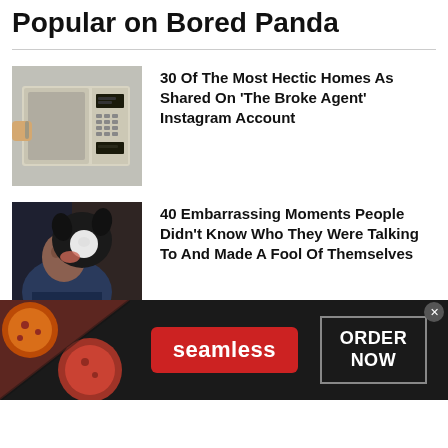Popular on Bored Panda
[Figure (photo): A microwave oven with digital display panels, cream/beige colored]
30 Of The Most Hectic Homes As Shared On 'The Broke Agent' Instagram Account
[Figure (photo): An older man being licked on the face by a black and white dog]
40 Embarrassing Moments People Didn't Know Who They Were Talking To And Made A Fool Of Themselves
[Figure (photo): Advertisement banner: pizza image on left, seamless logo in red button, ORDER NOW button on dark background]